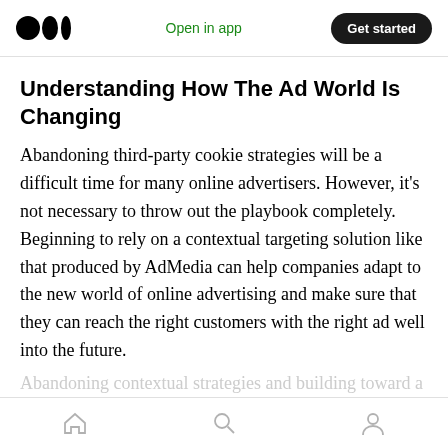Open in app | Get started
Understanding How The Ad World Is Changing
Abandoning third-party cookie strategies will be a difficult time for many online advertisers. However, it’s not necessary to throw out the playbook completely. Beginning to rely on a contextual targeting solution like that produced by AdMedia can help companies adapt to the new world of online advertising and make sure that they can reach the right customers with the right ad well into the future.
Home | Search | Profile